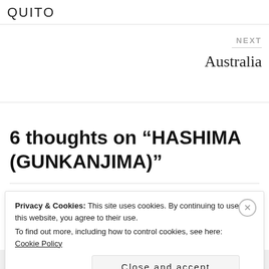QUITO
NEXT
Australia
6 thoughts on “HASHIMA (GUNKANJIMA)”
Pingback: HASHIMA (GUNKANJIMA) – Al Was Here
Privacy & Cookies: This site uses cookies. By continuing to use this website, you agree to their use.
To find out more, including how to control cookies, see here: Cookie Policy
Close and accept